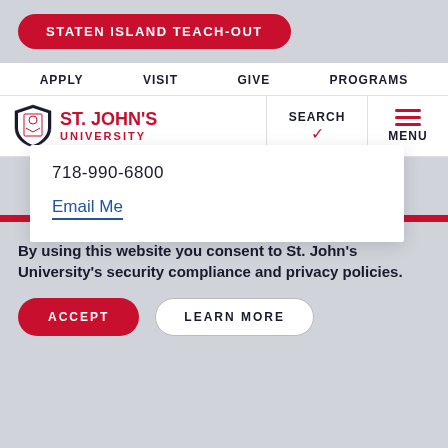STATEN ISLAND TEACH-OUT
APPLY  VISIT  GIVE  PROGRAMS
[Figure (logo): St. John's University shield logo with SEARCH and MENU navigation elements]
718-990-6800
Email Me
By using this website you consent to St. John's University's security compliance and privacy policies.
ACCEPT
LEARN MORE